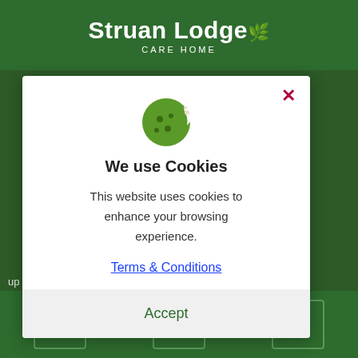Struan Lodge CARE HOME
[Figure (screenshot): Cookie consent modal dialog on Struan Lodge Care Home website. Modal contains a cookie icon, title 'We use Cookies', descriptive text, Terms & Conditions link, and Accept button. Background shows garden/nature imagery with partial website text visible.]
We use Cookies
This website uses cookies to enhance your browsing experience.
Terms & Conditions
Accept
Home | Menu | Phone